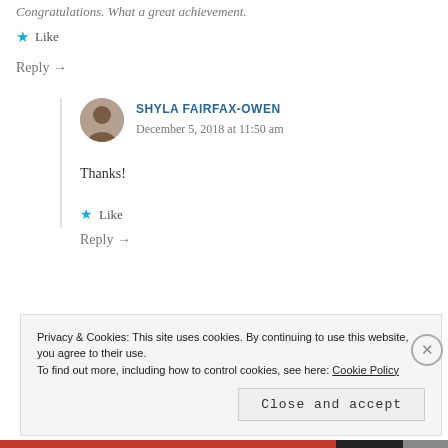Congratulations. What a great achievement.
★ Like
Reply →
SHYLA FAIRFAX-OWEN
December 5, 2018 at 11:50 am
Thanks!
★ Like
Reply →
Privacy & Cookies: This site uses cookies. By continuing to use this website, you agree to their use.
To find out more, including how to control cookies, see here: Cookie Policy
Close and accept